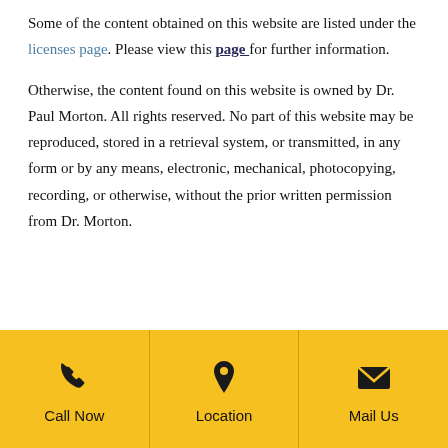Some of the content obtained on this website are listed under the licenses page. Please view this page for further information.
Otherwise, the content found on this website is owned by Dr. Paul Morton. All rights reserved. No part of this website may be reproduced, stored in a retrieval system, or transmitted, in any form or by any means, electronic, mechanical, photocopying, recording, or otherwise, without the prior written permission from Dr. Morton.
[Figure (infographic): Footer bar with three sections: Call Now (phone icon), Location (map pin icon), Mail Us (envelope icon), all on a golden-yellow background.]